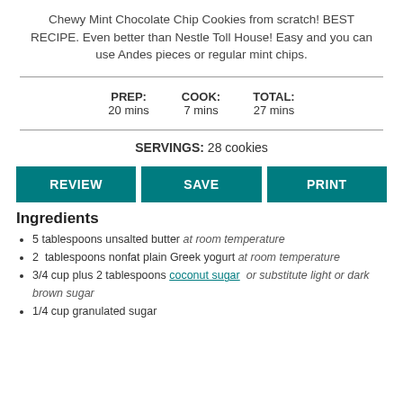Chewy Mint Chocolate Chip Cookies from scratch! BEST RECIPE. Even better than Nestle Toll House! Easy and you can use Andes pieces or regular mint chips.
PREP: 20 mins  COOK: 7 mins  TOTAL: 27 mins
SERVINGS: 28 cookies
REVIEW  SAVE  PRINT
Ingredients
5 tablespoons unsalted butter at room temperature
2  tablespoons nonfat plain Greek yogurt at room temperature
3/4 cup plus 2 tablespoons coconut sugar  or substitute light or dark brown sugar
1/4 cup granulated sugar